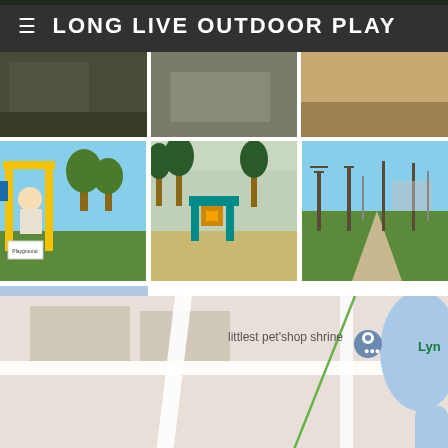LONG LIVE OUTDOOR PLAY
[Figure (photo): Three partially visible playground/park photos at top (cropped)]
[Figure (photo): Child on yellow playground equipment]
[Figure (photo): Teal playground equipment structure]
[Figure (photo): Park with trees and path]
[Figure (photo): Park with basketball court and bare trees]
[Figure (map): Google Maps showing Country Lane Park location with pin, littlest pet shop shrine label, Country Ln street label, green park area]